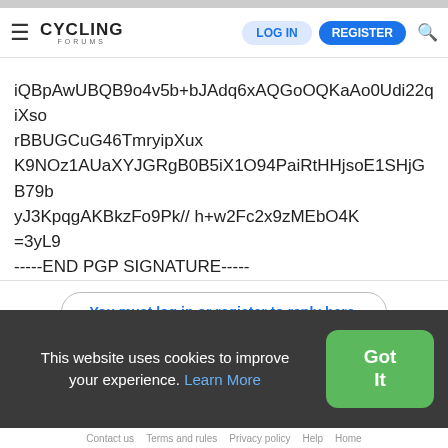CYCLING FORUMS — LOG IN | REGISTER
iQBpAwUBQB9o4v5b+bJAdq6xAQGoOQKaAo0Udi22qiXso
rBBUGCuG46TmryipXux
K9NOz1AUaXYJGRgB0B5iX1O94PaiRtHHjsoE1SHjGB79b
yJ3KpqgAKBkzFo9Pk// h+w2Fc2x9zMEbO4K
=3yL9
-----END PGP SIGNATURE-----
You must log in or register to reply here.
Share:
This website uses cookies to improve your experience. Learn More
Contact us   Terms and rules   Privacy policy   Help   Home